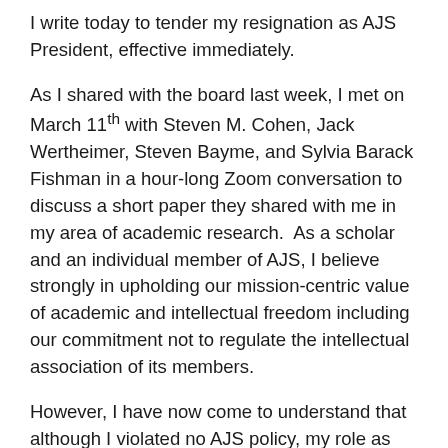I write today to tender my resignation as AJS President, effective immediately.
As I shared with the board last week, I met on March 11th with Steven M. Cohen, Jack Wertheimer, Steven Bayme, and Sylvia Barack Fishman in a hour-long Zoom conversation to discuss a short paper they shared with me in my area of academic research. As a scholar and an individual member of AJS, I believe strongly in upholding our mission-centric value of academic and intellectual freedom including our commitment not to regulate the intellectual association of its members.
However, I have now come to understand that although I violated no AJS policy, my role as President of AJS necessitated a different set of obligations and standards than other members of the organization. Accepting this meeting invitation was a mistake.
Over the last two weeks, I have listened carefully to